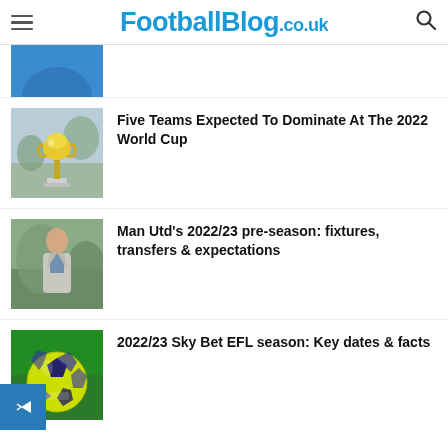FootballBlog.co.uk
[Figure (photo): Partial image of a person, cropped at top of page]
Five Teams Expected To Dominate At The 2022 World Cup
[Figure (photo): Photo of the FIFA World Cup trophy on a plinth, outdoors]
Man Utd’s 2022/23 pre-season: fixtures, transfers & expectations
[Figure (photo): Photo of a man in a suit jacket standing outdoors]
2022/23 Sky Bet EFL season: Key dates & facts
[Figure (photo): Photo of a yellow Puma EFL football (soccer ball)]